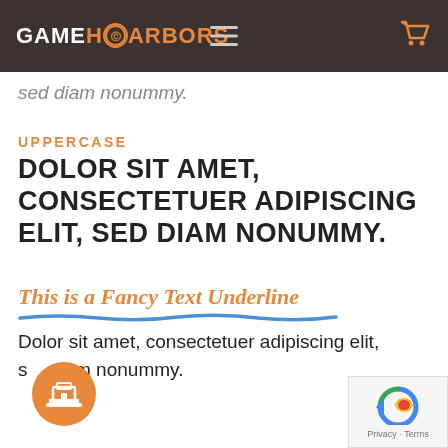GAMEHARBORS
sed diam nonummy.
UPPERCASE
DOLOR SIT AMET, CONSECTETUER ADIPISCING ELIT, SED DIAM NONUMMY.
This is a Fancy Text Underline
Dolor sit amet, consectetuer adipiscing elit, sed diam nonummy.